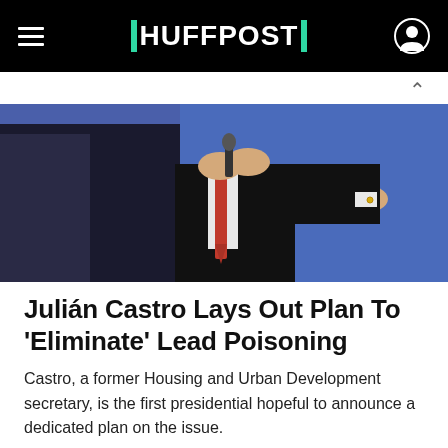HUFFPOST
[Figure (photo): Person in suit holding microphone with red tie, blue background — debate or event photo]
Julián Castro Lays Out Plan To 'Eliminate' Lead Poisoning
Castro, a former Housing and Urban Development secretary, is the first presidential hopeful to announce a dedicated plan on the issue.
By DOMINIQUE MOSBERGEN
[Figure (photo): Person at podium, partial view, blue background with text]